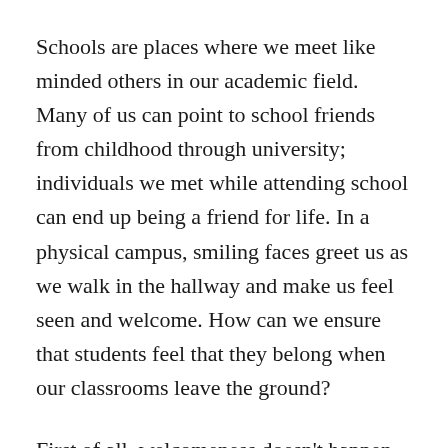Schools are places where we meet like minded others in our academic field. Many of us can point to school friends from childhood through university; individuals we met while attending school can end up being a friend for life. In a physical campus, smiling faces greet us as we walk in the hallway and make us feel seen and welcome. How can we ensure that students feel that they belong when our classrooms leave the ground?
First of all, welcomeness doesn't happen on accident. The idea that a professor can set up her classroom, put up a biography and a nice photo, and begin in earnest to connect with students is optimistic and insufficient. In the online classroom, students must feel comfortable